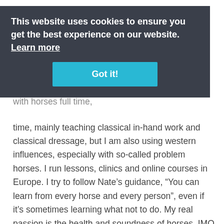HorseWorks youngsters and soaked in western
This website uses cookies to ensure you get the best experience on our website. Learn more
Got it!
Fast forward to the present day. Eyes wide open, I have realized how much there is to learn. I study old classical masters intensively. I also now work with horses full time, mainly teaching classical in-hand work and classical dressage, but I am also using western influences, especially with so-called problem horses. I run lessons, clinics and online courses in Europe. I try to follow Nate’s guidance, “You can learn from every horse and every person”, even if it's sometimes learning what not to do. My real passion is the health and soundness of horses. IMO any training that doesn’t contribute to both is not training.